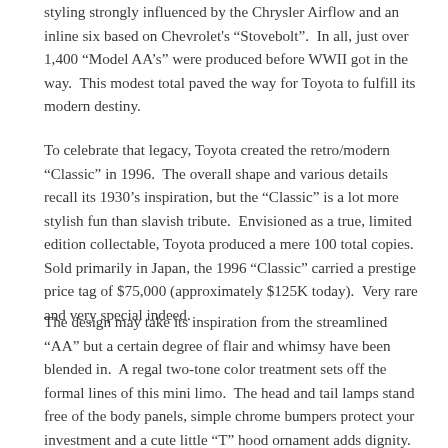styling strongly influenced by the Chrysler Airflow and an inline six based on Chevrolet's "Stovebolt". In all, just over 1,400 "Model AA's" were produced before WWII got in the way. This modest total paved the way for Toyota to fulfill its modern destiny.
To celebrate that legacy, Toyota created the retro/modern "Classic" in 1996. The overall shape and various details recall its 1930's inspiration, but the "Classic" is a lot more stylish fun than slavish tribute. Envisioned as a true, limited edition collectable, Toyota produced a mere 100 total copies. Sold primarily in Japan, the 1996 "Classic" carried a prestige price tag of $75,000 (approximately $125K today). Very rare and very special indeed.
The design may take its inspiration from the streamlined "AA" but a certain degree of flair and whimsy have been blended in. A regal two-tone color treatment sets off the formal lines of this mini limo. The head and tail lamps stand free of the body panels, simple chrome bumpers protect your investment and a cute little "T" hood ornament adds dignity. A faux spare tire rides on the trunk